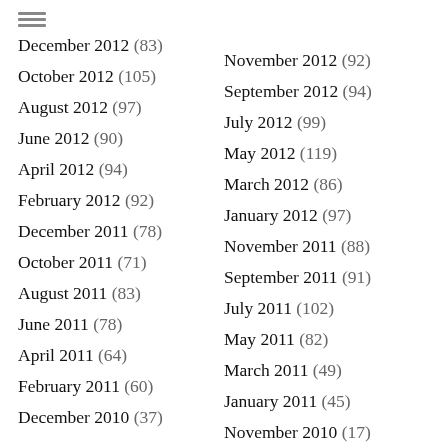December 2012 (83)
November 2012 (92)
October 2012 (105)
September 2012 (94)
August 2012 (97)
July 2012 (99)
June 2012 (90)
May 2012 (119)
April 2012 (94)
March 2012 (86)
February 2012 (92)
January 2012 (97)
December 2011 (78)
November 2011 (88)
October 2011 (71)
September 2011 (91)
August 2011 (83)
July 2011 (102)
June 2011 (78)
May 2011 (82)
April 2011 (64)
March 2011 (49)
February 2011 (60)
January 2011 (45)
December 2010 (37)
November 2010 (17)